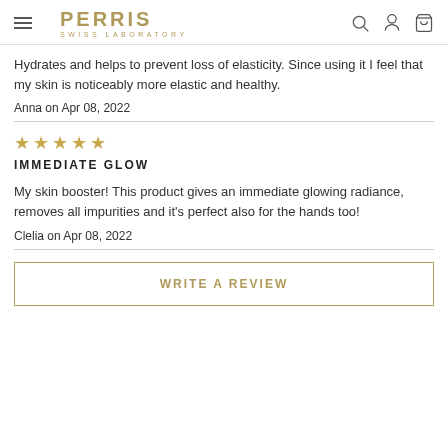PERRIS SWISS LABORATORY
Hydrates and helps to prevent loss of elasticity. Since using it I feel that my skin is noticeably more elastic and healthy.
Anna on Apr 08, 2022
[Figure (other): Five gold star rating icons]
IMMEDIATE GLOW
My skin booster! This product gives an immediate glowing radiance, removes all impurities and it's perfect also for the hands too!
Clelia on Apr 08, 2022
WRITE A REVIEW